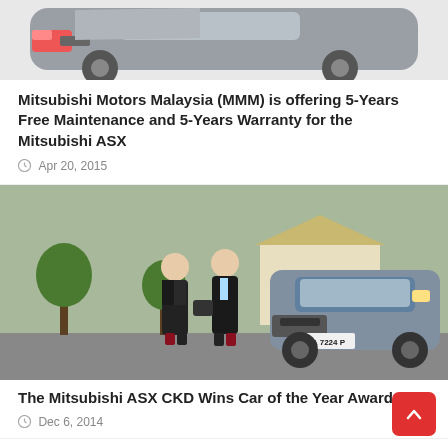[Figure (photo): Partial top view of a silver/grey Mitsubishi ASX SUV on white background, showing the front and hood area.]
Mitsubishi Motors Malaysia (MMM) is offering 5-Years Free Maintenance and 5-Years Warranty for the Mitsubishi ASX
Apr 20, 2015
[Figure (photo): Two men in suits standing in front of a grey Mitsubishi ASX CKD with license plate WA 7224 P, outdoors on a road with greenery in the background.]
The Mitsubishi ASX CKD Wins Car of the Year Awards!
Dec 6, 2014
Field Fix Campaign for Mitsubishi Vehicles in Malaysia
Sep 3, 2014